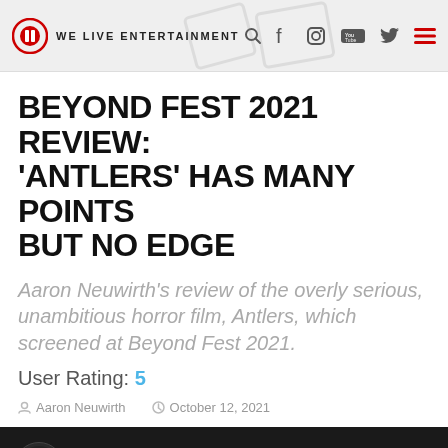WE LIVE ENTERTAINMENT
BEYOND FEST 2021 REVIEW: ‘ANTLERS’ HAS MANY POINTS BUT NO EDGE
Aaron Neuwirth’s review of the overly serious, unambitious horror film, Antlers, which screened at Beyond Fest 2021.
User Rating: 5
Aaron Neuwirth   October 12, 2021
[Figure (screenshot): YouTube video thumbnail showing ANTLERS | Final Trailer [HD] | Searc... with Searchlight Pictures logo on dark background]